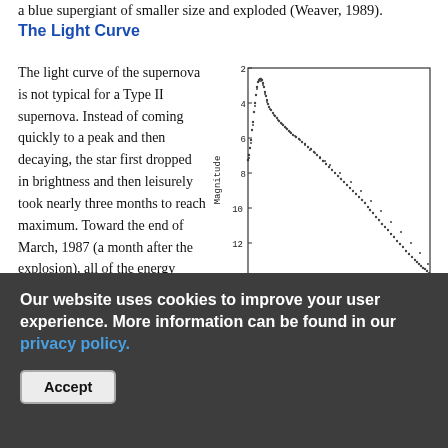a blue supergiant of smaller size and exploded (Weaver, 1989).
The Light Curve
The light curve of the supernova is not typical for a Type II supernova. Instead of coming quickly to a peak and then decaying, the star first dropped in brightness and then leisurely took nearly three months to reach maximum. Toward the end of March, 1987 (a month after the explosion), all of the energy deposited by the shock had
[Figure (continuous-plot): Light curve of SN 1987A showing magnitude vs date from Jan 4, 1987 to Sep. 30, 1989. The curve rises to a peak around magnitude 3 then gradually declines. Y-axis: Magnitude (2 to 14), X-axis: Date with labels Jan 4, 1987; May 18, 1988; Sep. 30, 1989.]
Light Curve of SN 1987A from the AAVSO International Database
Our website uses cookies to improve your user experience. More information can be found in our privacy policy.